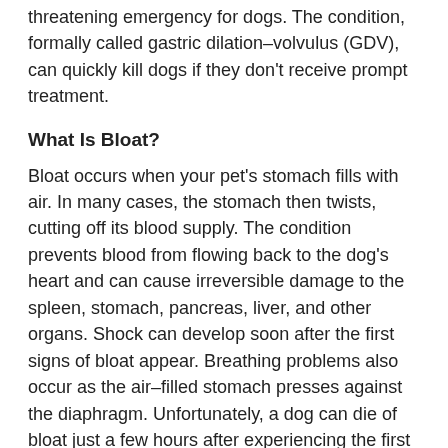threatening emergency for dogs. The condition, formally called gastric dilation-volvulus (GDV), can quickly kill dogs if they don't receive prompt treatment.
What Is Bloat?
Bloat occurs when your pet's stomach fills with air. In many cases, the stomach then twists, cutting off its blood supply. The condition prevents blood from flowing back to the dog's heart and can cause irreversible damage to the spleen, stomach, pancreas, liver, and other organs. Shock can develop soon after the first signs of bloat appear. Breathing problems also occur as the air-filled stomach presses against the diaphragm. Unfortunately, a dog can die of bloat just a few hours after experiencing the first symptoms.
Which Dogs Get Bloat?
Any dog can develop bloat, although it may be more likely to occur in older dogs and males. Great Danes, Saint Bernards, German shepherds, poodles, retrievers and other